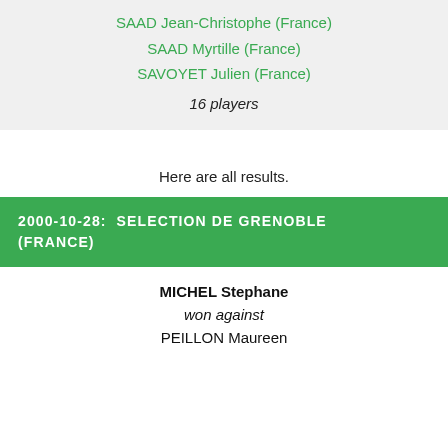SAAD Jean-Christophe (France)
SAAD Myrtille (France)
SAVOYET Julien (France)
16 players
Here are all results.
2000-10-28: SELECTION DE GRENOBLE (FRANCE)
MICHEL Stephane
won against
PEILLON Maureen